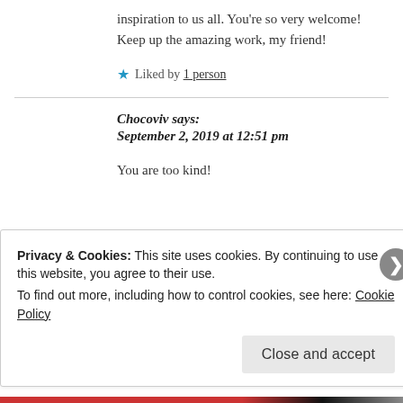inspiration to us all. You're so very welcome! Keep up the amazing work, my friend!
★ Liked by 1 person
Chocoviv says:
September 2, 2019 at 12:51 pm
You are too kind!
Privacy & Cookies: This site uses cookies. By continuing to use this website, you agree to their use.
To find out more, including how to control cookies, see here: Cookie Policy
Close and accept